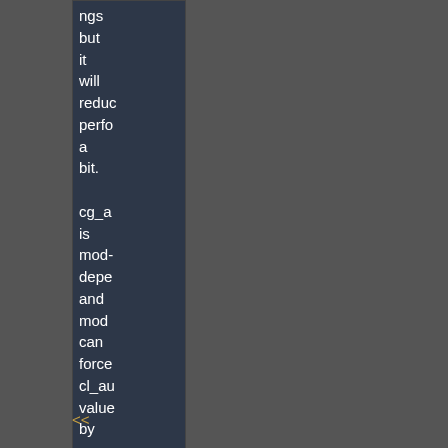ngs but it will reduce perfo a bit. cg_a is mod-depe and mod can force cl_au value by serve reque so I can't tell anyth abou that
<<